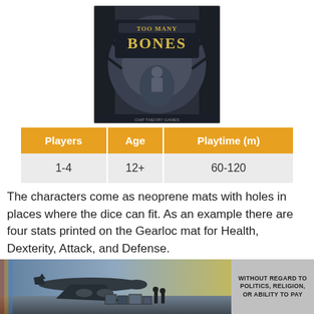[Figure (photo): Box art of the board game 'Too Many Bones' showing a dark, atmospheric scene with a figure in a forest]
| Players | Age | Playtime (m) |
| --- | --- | --- |
| 1-4 | 12+ | 60-120 |
The characters come as neoprene mats with holes in places where the dice can fit. As an example there are four stats printed on the Gearloc mat for Health, Dexterity, Attack, and Defense.
[Figure (photo): Advertisement banner showing an airplane being loaded with cargo, with text 'WITHOUT REGARD TO POLITICS, RELIGION, OR ABILITY TO PAY']